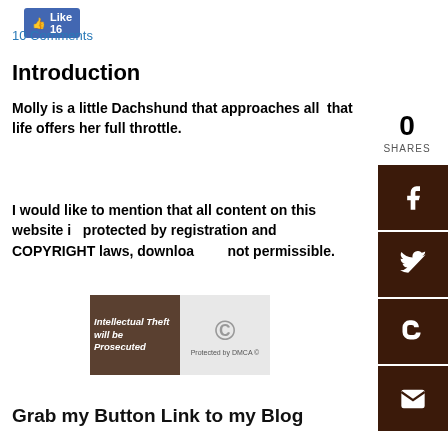[Figure (screenshot): Facebook Like button showing count of 16]
10 Comments
Introduction
Molly is a little Dachshund that approaches all that life offers her full throttle.
0
SHARES
I would like to mention that all content on this website is protected by registration and COPYRIGHT laws, downloading not permissible.
[Figure (illustration): Two-part copyright image: left side shows wolf with text 'Intellectual Theft will be Prosecuted', right side shows chain with copyright symbol and text 'Protected by DMCA ©']
Grab my Button Link to my Blog